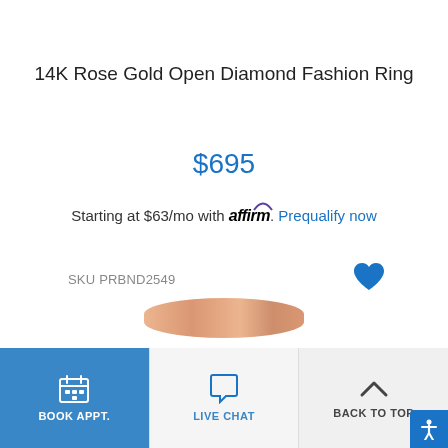14K Rose Gold Open Diamond Fashion Ring
$695
Starting at $63/mo with affirm. Prequalify now
SKU PRBND2549
[Figure (illustration): Blue heart/favorite icon]
[Figure (photo): Partial top view of rose gold ring at bottom of page]
BOOK APPT.   LIVE CHAT   BACK TO TOP